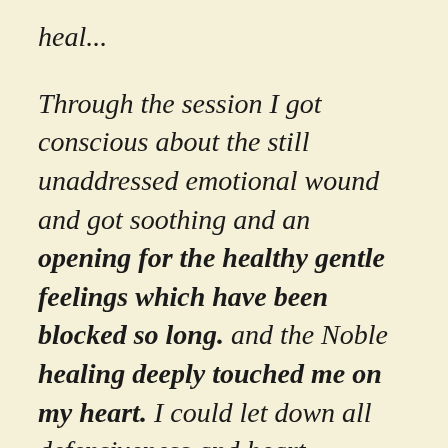heal... Through the session I got conscious about the still unaddressed emotional wound and got soothing and an opening for the healthy gentle feelings which have been blocked so long. and the Noble healing deeply touched me on my heart. I could let down all defensiveness and heart